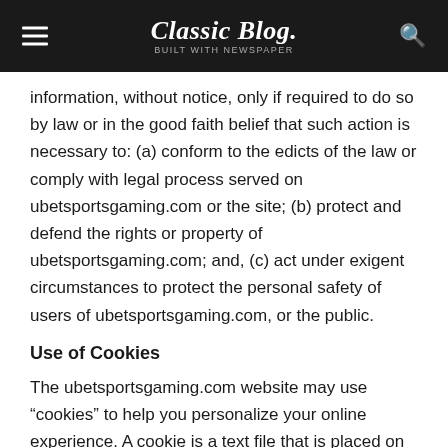Classic Blog
information, without notice, only if required to do so by law or in the good faith belief that such action is necessary to: (a) conform to the edicts of the law or comply with legal process served on ubetsportsgaming.com or the site; (b) protect and defend the rights or property of ubetsportsgaming.com; and, (c) act under exigent circumstances to protect the personal safety of users of ubetsportsgaming.com, or the public.
Use of Cookies
The ubetsportsgaming.com website may use “cookies” to help you personalize your online experience. A cookie is a text file that is placed on your hard disk by a web page server. Cookies cannot be used to run programs or deliver viruses to your computer. Cookies are uniquely assigned to you, and